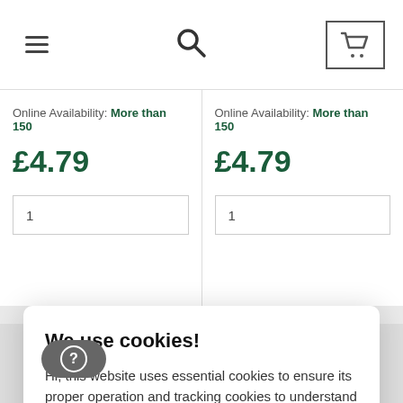[Figure (screenshot): Navigation bar with hamburger menu, search icon, and shopping cart button]
Online Availability: More than 150
£4.79
1
Online Availability: More than 150
£4.79
1
We use cookies!
Hi, this website uses essential cookies to ensure its proper operation and tracking cookies to understand how you interact with it. The latter will be set only after consent. Let me choose
Accept all
Reject all